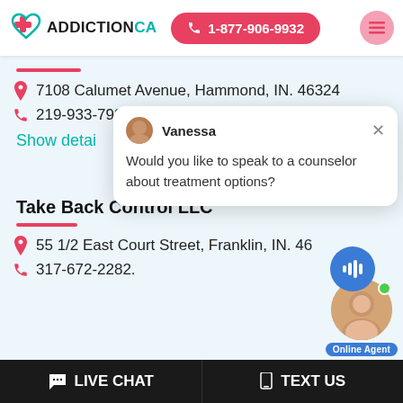[Figure (logo): AddictionCA logo with teal heart and red cross icon, brand name in black and teal]
1-877-906-9932
7108 Calumet Avenue, Hammond, IN. 46324
219-933-7990.
Show detai…
[Figure (screenshot): Chat popup with Vanessa agent avatar saying 'Would you like to speak to a counselor about treatment options?']
Take Back Control LLC
55 1/2 East Court Street, Franklin, IN. 46…
317-672-2282.
[Figure (photo): Online agent widget showing female agent photo with green online dot and Online Agent label]
LIVE CHAT   TEXT US